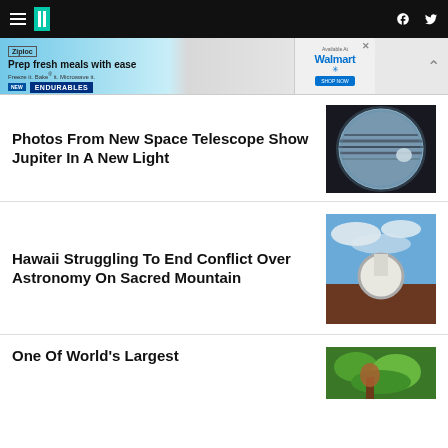HuffPost navigation bar with hamburger menu, logo, Facebook and Twitter icons
[Figure (screenshot): Ziploc advertisement banner: 'Prep fresh meals with ease. Freeze it. Bake it. Microwave it. NEW ENDURABLES. Available At Walmart.']
Photos From New Space Telescope Show Jupiter In A New Light
[Figure (photo): Close-up photo of Jupiter showing cloud bands and a bright spot, dark background]
Hawaii Struggling To End Conflict Over Astronomy On Sacred Mountain
[Figure (photo): Photo of a white telescope dome against a blue sky with clouds, red volcanic ground visible]
One Of World's Largest